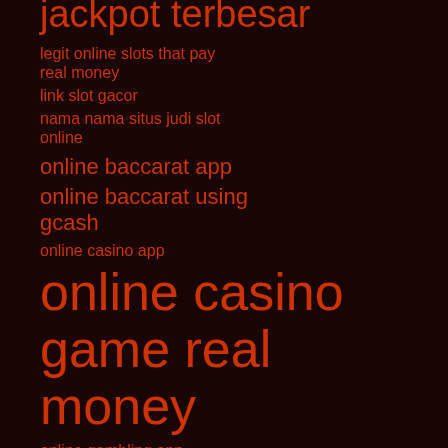jackpot terbesar
legit online slots that pay real money
link slot gacor
nama nama situs judi slot online
online baccarat app
online baccarat using gcash
online casino app
online casino game real money
online gambling app